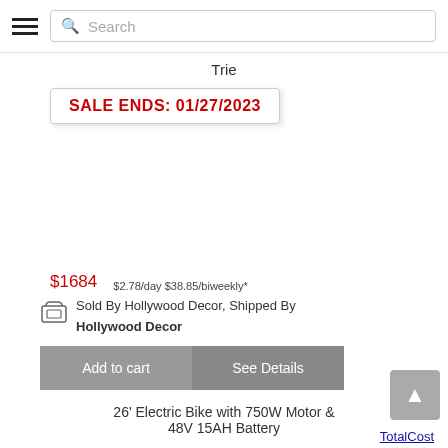Search
Trie
SALE ENDS: 01/27/2023
$1684   $2.78/day $38.85/biweekly*
TotalCost
Sold By Hollywood Decor, Shipped By Hollywood Decor
Add to cart
See Details
26' Electric Bike with 750W Motor & 48V 15AH Battery